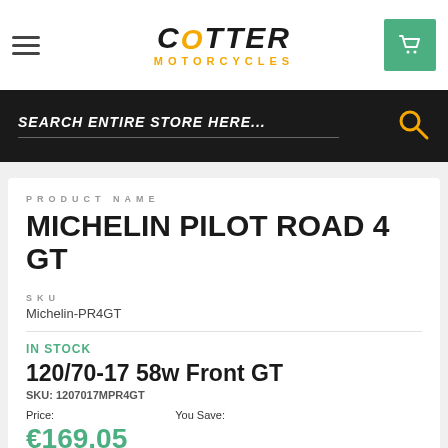Cotter Motorcycles
SEARCH ENTIRE STORE HERE...
PRODUCT NAME
MICHELIN PILOT ROAD 4 GT
SKU
Michelin-PR4GT
IN STOCK
120/70-17 58w Front GT
SKU: 1207017MPR4GT
Price: €169.05   You Save: